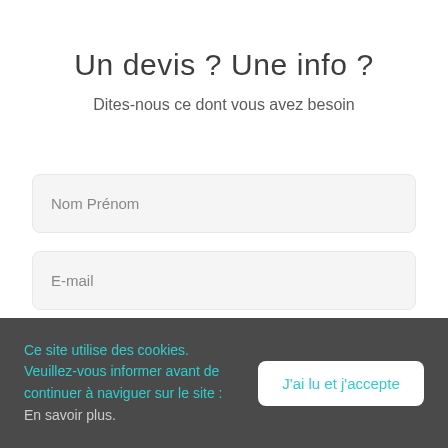Un devis ? Une info ?
Dites-nous ce dont vous avez besoin
Nom Prénom
E-mail
Ce site utilise des cookies. Veuillez-vous informer avant de continuer à naviguer sur le site : En savoir plus.
J'ai lu et j'accepte